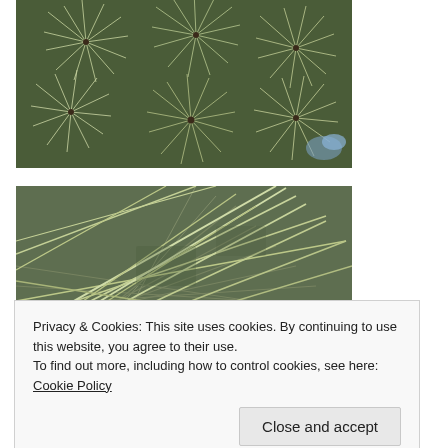[Figure (photo): Close-up photograph of pine tree needles from above, showing multiple star-burst clusters of long silvery-green needles against dark branches]
[Figure (photo): Close-up photograph of pine tree needles from a side angle, showing long pale green needles spreading out in a fan-like pattern]
Privacy & Cookies: This site uses cookies. By continuing to use this website, you agree to their use.
To find out more, including how to control cookies, see here: Cookie Policy